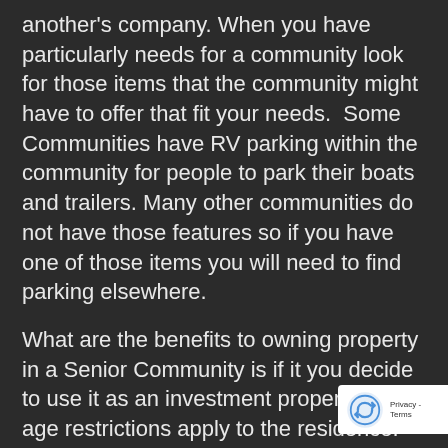another's company. When you have particularly needs for a community look for those items that the community might have to offer that fit your needs.  Some Communities have RV parking within the community for people to park their boats and trailers. Many other communities do not have those features so if you have one of those items you will need to find parking elsewhere.
What are the benefits to owning property in a Senior Community is if it you decide to use it as an investment property the age restrictions apply to the residence. senior renters usually make very good renters and your investment much more secure. An interesting note is to purchase a home in a senior community you